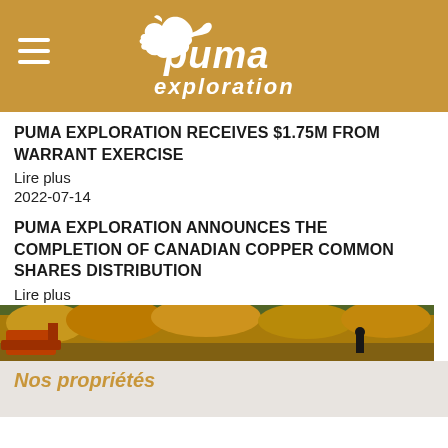[Figure (logo): Puma Exploration logo on golden/tan background with hamburger menu icon on left]
PUMA EXPLORATION RECEIVES $1.75M FROM WARRANT EXERCISE
Lire plus
2022-07-14
PUMA EXPLORATION ANNOUNCES THE COMPLETION OF CANADIAN COPPER COMMON SHARES DISTRIBUTION
Lire plus
[Figure (photo): Outdoor autumn landscape photo strip showing excavator/machinery and a person walking among golden trees]
Nos propriétés